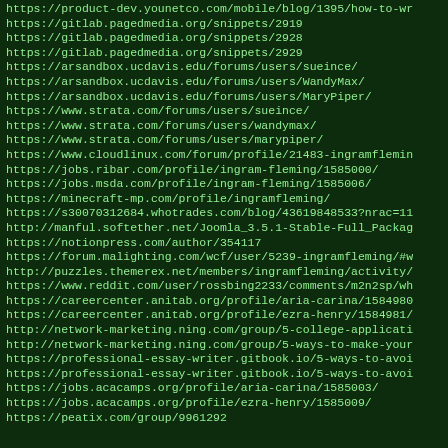List of URLs including product-dev.younetco.com, gitlab.pagedmedia.org, arsandbox.ucdavis.edu, www.strata.com, www.cloudlinux.com, jobs.ribar.com, jobs.msda.com, minecraft-mp.com, s30070312684.whotrades.com, manful.softether.net, notionpress.com, forum.malighting.com, puzzles.themerex.net, www.reddit.com, careercenter.anitab.org, network-marketing.ning.com, professional-essay-writer.gitbook.io, jobs.acacamps.org, peatix.com